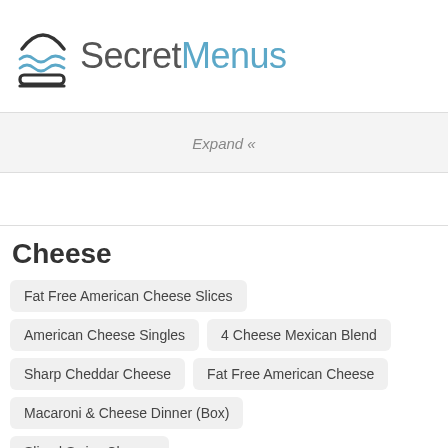SecretMenus
Expand «
Cheese
Fat Free American Cheese Slices
American Cheese Singles
4 Cheese Mexican Blend
Sharp Cheddar Cheese
Fat Free American Cheese
Macaroni & Cheese Dinner (Box)
Sliced Swiss Cheese